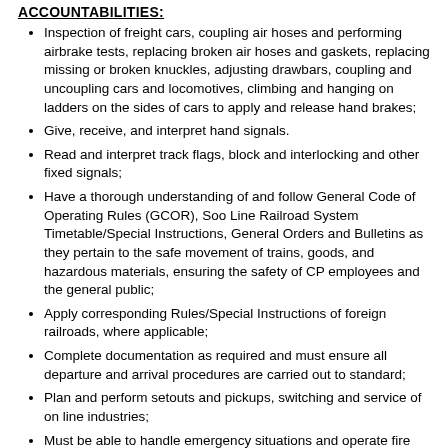ACCOUNTABILITIES:
Inspection of freight cars, coupling air hoses and performing airbrake tests, replacing broken air hoses and gaskets, replacing missing or broken knuckles, adjusting drawbars, coupling and uncoupling cars and locomotives, climbing and hanging on ladders on the sides of cars to apply and release hand brakes;
Give, receive, and interpret hand signals.
Read and interpret track flags, block and interlocking and other fixed signals;
Have a thorough understanding of and follow General Code of Operating Rules (GCOR), Soo Line Railroad System Timetable/Special Instructions, General Orders and Bulletins as they pertain to the safe movement of trains, goods, and hazardous materials, ensuring the safety of CP employees and the general public;
Apply corresponding Rules/Special Instructions of foreign railroads, where applicable;
Complete documentation as required and must ensure all departure and arrival procedures are carried out to standard;
Plan and perform setouts and pickups, switching and service of on line industries;
Must be able to handle emergency situations and operate fire extinguishers as well as be able to apply first aid techniques;